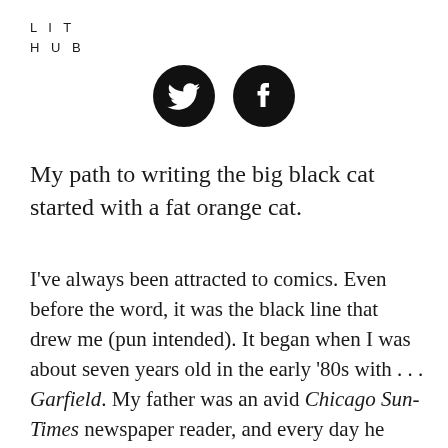LIT HUB
[Figure (illustration): Two black circular social media icons: Twitter bird icon and Facebook 'f' icon, centered at top of page]
My path to writing the big black cat started with a fat orange cat.
I've always been attracted to comics. Even before the word, it was the black line that drew me (pun intended). It began when I was about seven years old in the early '80s with . . . Garfield. My father was an avid Chicago Sun-Times newspaper reader, and every day he would sit at the dinner table and read it. It was